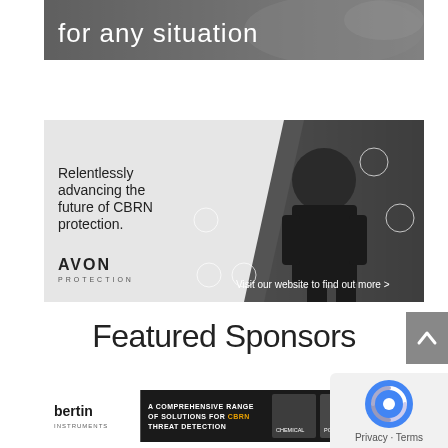[Figure (photo): Top banner image showing dark military/tactical background with white text 'for any situation']
[Figure (photo): Avon Protection advertisement showing soldier in CBRN gear with text 'Relentlessly advancing the future of CBRN protection.' and 'Visit our website to find out more >' with Avon Protection logo and product icons]
Featured Sponsors
[Figure (photo): Bertin Instruments banner ad showing 'A COMPREHENSIVE RANGE OF SOLUTIONS FOR CBRN THREAT DETECTION' with product images including chemical/gas cloud detection, portable air samplers and detection kits, and background monitoring systems]